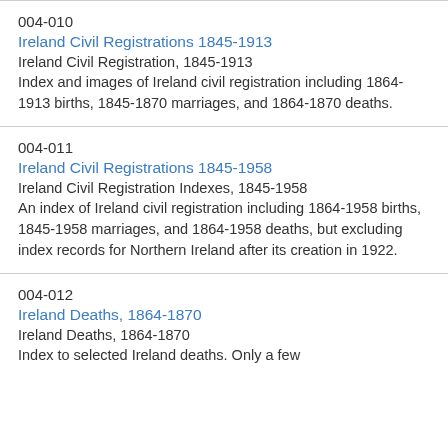004-010
Ireland Civil Registrations 1845-1913
Ireland Civil Registration, 1845-1913
Index and images of Ireland civil registration including 1864-1913 births, 1845-1870 marriages, and 1864-1870 deaths.
004-011
Ireland Civil Registrations 1845-1958
Ireland Civil Registration Indexes, 1845-1958
An index of Ireland civil registration including 1864-1958 births, 1845-1958 marriages, and 1864-1958 deaths, but excluding index records for Northern Ireland after its creation in 1922.
004-012
Ireland Deaths, 1864-1870
Ireland Deaths, 1864-1870
Index to selected Ireland deaths. Only a few